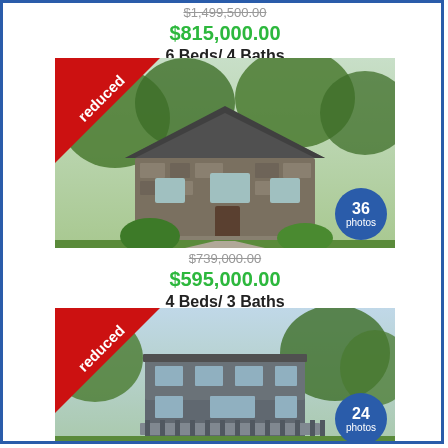$1,499,500.00 (strikethrough)
$815,000.00
6 Beds/ 4 Baths
[Figure (photo): Stone cottage house with metal roof, trees in background, 'reduced' ribbon banner, 36 photos badge]
$739,000.00 (strikethrough)
$595,000.00
4 Beds/ 3 Baths
[Figure (photo): Modern multi-story gray house with deck, green lawn, trees, 'reduced' ribbon banner, 24 photos badge]
$495,000.00 (strikethrough)
$290,000.00
3 Beds/ 2 Baths
[Figure (photo): Small white/gray house with trees in background, partially visible]